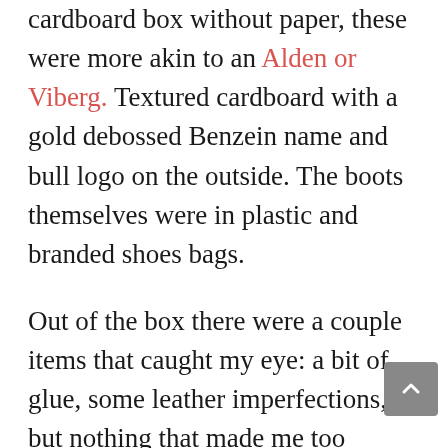cardboard box without paper, these were more akin to an Alden or Viberg. Textured cardboard with a gold debossed Benzein name and bull logo on the outside. The boots themselves were in plastic and branded shoes bags.
Out of the box there were a couple items that caught my eye: a bit of glue, some leather imperfections, but nothing that made me too concerned. The finishing otherwise was fantastic. The sole edges were well polished and there wasn't a stitch out of place. It was hard to believe I was finally holding these boots that were made for me from a world away.